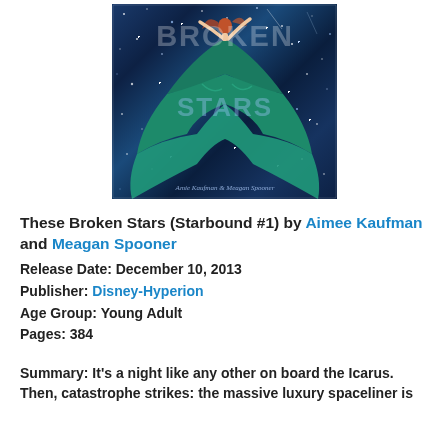[Figure (illustration): Book cover of 'These Broken Stars' showing a girl in a teal/green dress floating among stars on a dark blue background, with the title 'BROKEN STARS' overlaid and author names 'Amie Kaufman & Meagan Spooner' at the bottom.]
These Broken Stars (Starbound #1) by Aimee Kaufman and Meagan Spooner
Release Date: December 10, 2013
Publisher: Disney-Hyperion
Age Group: Young Adult
Pages: 384
Summary: It's a night like any other on board the Icarus. Then, catastrophe strikes: the massive luxury spaceliner is